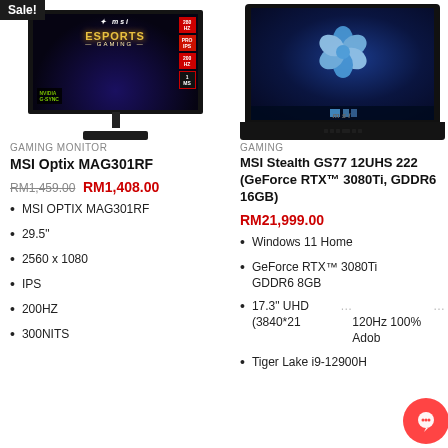[Figure (photo): MSI Optix MAG301RF gaming monitor with ESPORTS GAMING branding on screen, G-SYNC badge, Sale! label in top left corner]
[Figure (photo): MSI Stealth GS77 gaming laptop with Windows 11 desktop showing on screen]
GAMING MONITOR
GAMING
MSI Optix MAG301RF
MSI Stealth GS77 12UHS 222 (GeForce RTX™ 3080Ti, GDDR6 16GB)
RM1,459.00  RM1,408.00
RM21,999.00
MSI OPTIX MAG301RF
29.5"
2560 x 1080
IPS
200HZ
300NITS
Windows 11 Home
GeForce RTX™ 3080Ti GDDR6 8GB
17.3" UHD (3840*21... 120Hz 100% Adob...
Tiger Lake i9-12900H